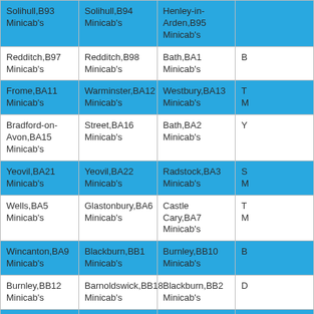| Solihull,B93 Minicab's | Solihull,B94 Minicab's | Henley-in-Arden,B95 Minicab's | … |
| Redditch,B97 Minicab's | Redditch,B98 Minicab's | Bath,BA1 Minicab's | … |
| Frome,BA11 Minicab's | Warminster,BA12 Minicab's | Westbury,BA13 Minicab's | T… M… |
| Bradford-on-Avon,BA15 Minicab's | Street,BA16 Minicab's | Bath,BA2 Minicab's | Y… |
| Yeovil,BA21 Minicab's | Yeovil,BA22 Minicab's | Radstock,BA3 Minicab's | S… M… |
| Wells,BA5 Minicab's | Glastonbury,BA6 Minicab's | Castle Cary,BA7 Minicab's | T… M… |
| Wincanton,BA9 Minicab's | Blackburn,BB1 Minicab's | Burnley,BB10 Minicab's | B… |
| Burnley,BB12 Minicab's | Barnoldswick,BB18 Minicab's | Blackburn,BB2 Minicab's | D… |
| Rossendale,BB4 Minicab's | Accrington,BB5 Minicab's | Blackburn,BB6 Minicab's | C… |
| Colne,BB8 Minicab's | Nelson,BB9 Minicab's | Bradford,BD1 Minicab's | B… M… |